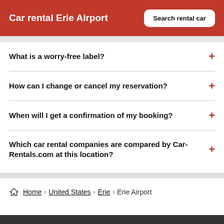Car rental Erie Airport
What is a worry-free label?
How can I change or cancel my reservation?
When will I get a confirmation of my booking?
Which car rental companies are compared by Car-Rentals.com at this location?
Home > United States > Erie > Erie Airport